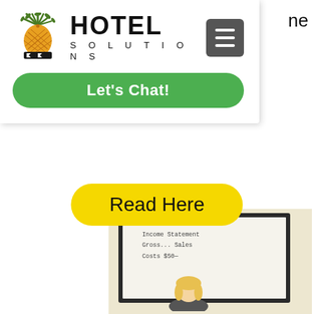[Figure (screenshot): Hotel Solutions website navigation dropdown showing pineapple logo, HOTEL SOLUTIONS text, hamburger menu button, and green Let's Chat! button]
ne
Read Here
[Figure (photo): Photo showing a whiteboard with handwritten text 'Income Statement', 'Gross... Sales', 'Costs $50...' and a person with blonde hair in front of it]